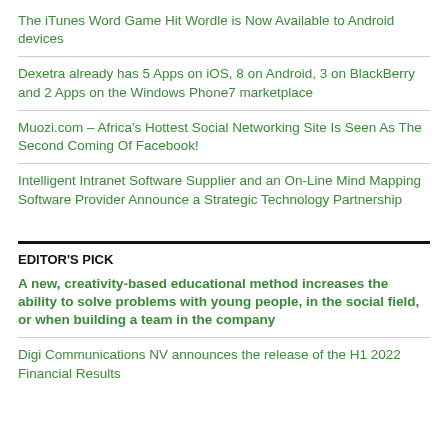The iTunes Word Game Hit Wordle is Now Available to Android devices
Dexetra already has 5 Apps on iOS, 8 on Android, 3 on BlackBerry and 2 Apps on the Windows Phone7 marketplace
Muozi.com – Africa's Hottest Social Networking Site Is Seen As The Second Coming Of Facebook!
Intelligent Intranet Software Supplier and an On-Line Mind Mapping Software Provider Announce a Strategic Technology Partnership
EDITOR'S PICK
A new, creativity-based educational method increases the ability to solve problems with young people, in the social field, or when building a team in the company
Digi Communications NV announces the release of the H1 2022 Financial Results